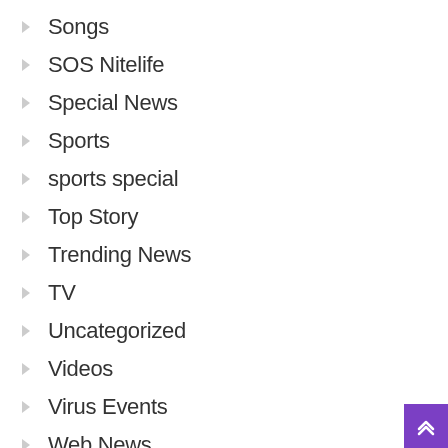Songs
SOS Nitelife
Special News
Sports
sports special
Top Story
Trending News
TV
Uncategorized
Videos
Virus Events
Web News
Web Series